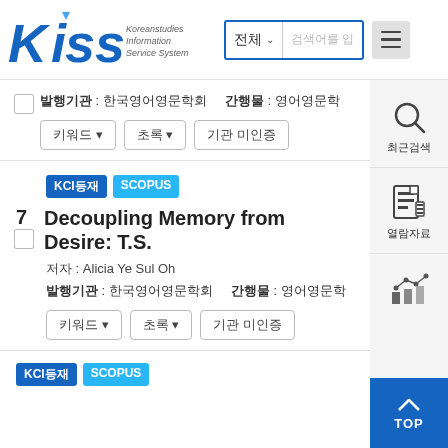[Figure (logo): KISS - Koreanstudies Information Service System logo in blue italic letters with search bar and hamburger menu]
발행기관 : 한국영어영문학회     간행물 : 영어영문학
키워드▼   초록▼   기관 미인증
KCI등재  SCOPUS
7  Decoupling Memory from Desire: T.S.
저자 : Alicia Ye Sul Oh
발행기관 : 한국영어영문학회     간행물 : 영어영문학
키워드▼   초록▼   기관 미인증
KCI등재  SCOPUS
최근검색
열람자료
TOP